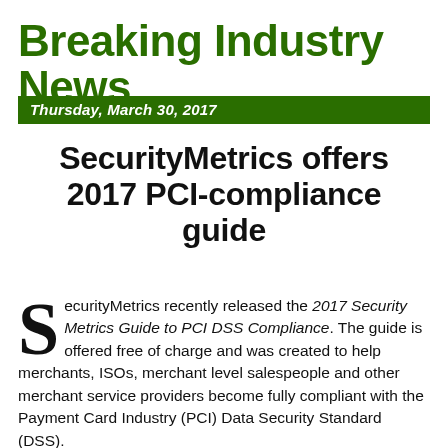Breaking Industry News
Thursday, March 30, 2017
SecurityMetrics offers 2017 PCI-compliance guide
SecurityMetrics recently released the 2017 Security Metrics Guide to PCI DSS Compliance. The guide is offered free of charge and was created to help merchants, ISOs, merchant level salespeople and other merchant service providers become fully compliant with the Payment Card Industry (PCI) Data Security Standard (DSS).